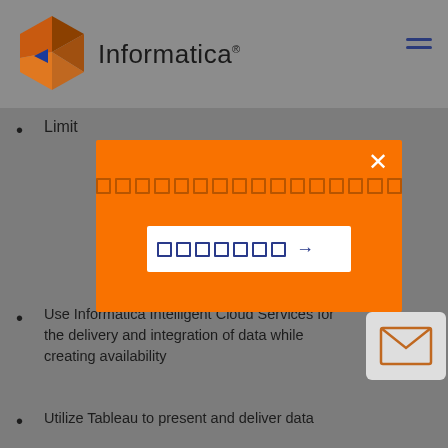[Figure (logo): Informatica logo with orange/brown diamond shape and blue arrow, text 'Informatica']
Limit
[Figure (screenshot): Orange modal dialog with close X button, row of dotted/outlined squares as search label, and a white input box with outlined square characters and an arrow]
Use Informatica Intelligent Cloud Services for the delivery and integration of data while creating availability
Utilize Tableau to present and deliver data
Use Snowflake to host and store data